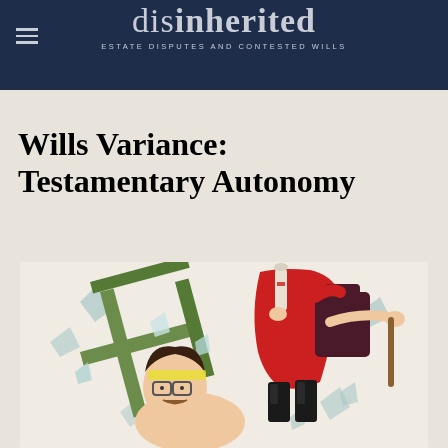disinherited — ESTATE DISPUTES AND CONTESTED WILLS
Wills Variance: Testamentary Autonomy
[Figure (illustration): Comic-style illustration showing a person being struck by a broken wooden frame, with shard fragments flying. The figure appears disheveled with glasses, and another person in red and dark clothing stands above holding items. Colorful editorial cartoon style.]